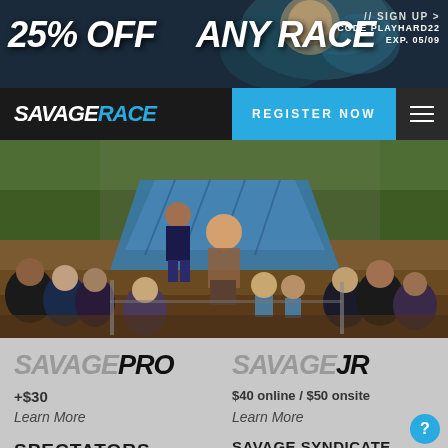[Figure (screenshot): Savage Race website promotional banner with woman athlete in background, text '25% OFF' on left and 'ANY RACE' on right, with '// SIGN UP > CODE PLAYHARD22 EXP. 05/09' on the right side]
[Figure (screenshot): Savage Race navigation bar with white italic SAVAGERACE logo (SAVAGE white, RACE blue), REGISTER NOW blue button, and hamburger menu icon]
[Figure (photo): Hero photo of obstacle course race participants climbing a muddy blue tarp hill, crowd watching on sides]
SAVAGEPRO
+$30
Learn More
SAVAGEJR
$40 online / $50 onsite
Learn More
SPECTATORS
$22 online / $30 onsite
Learn More
SAVAGE SYNDICATE PASS
9 miles in one day